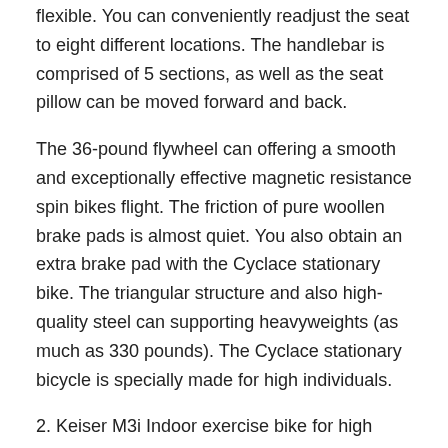flexible. You can conveniently readjust the seat to eight different locations. The handlebar is comprised of 5 sections, as well as the seat pillow can be moved forward and back.
The 36-pound flywheel can offering a smooth and exceptionally effective magnetic resistance spin bikes flight. The friction of pure woollen brake pads is almost quiet. You also obtain an extra brake pad with the Cyclace stationary bike. The triangular structure and also high-quality steel can supporting heavyweights (as much as 330 pounds). The Cyclace stationary bicycle is specially made for high individuals.
2. Keiser M3i Indoor exercise bike for high person.
Keiser M3i interior exercise bike can be the most effective stationary bicycle for a high individual as it additionally has a flooring mat, stretch pads, media tray, and polar heart rate screen. They utilized the first V-shape framework in the sector, which was motivated by numerous roadway bikes offered out there. You can easily change the seats and also handlebars. On top of that, it is likewise suitable with customers of varying heights and also dimensions. It is especially created for high individuals. There are numerous options for comfy pedaling on this bike because the elevation array is 4 feet